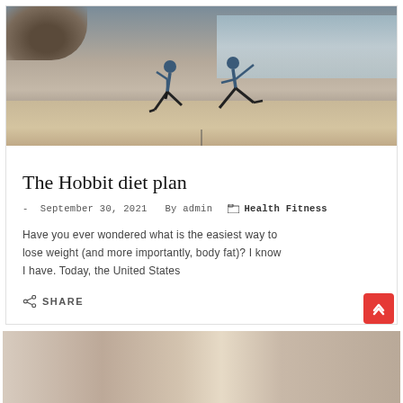[Figure (photo): Two women in blue tops doing yoga poses on a rocky beach. One is in a lunge pose, the other in a warrior pose. Rocky formations visible on the left, calm ocean water and sky in the background.]
The Hobbit diet plan
- September 30, 2021  By admin  Health Fitness
Have you ever wondered what is the easiest way to lose weight (and more importantly, body fat)? I know I have. Today, the United States
SHARE
[Figure (photo): Partial view of a second article card showing a street or market scene.]